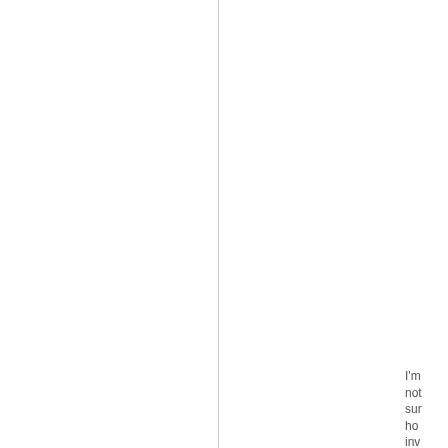I'm not sure how involved you are in the WA but both times we had a